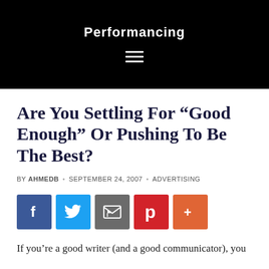Performancing
Are You Settling For “Good Enough” Or Pushing To Be The Best?
BY AHMEDB • SEPTEMBER 24, 2007 • ADVERTISING
[Figure (infographic): Social share buttons: Facebook, Twitter, Email, Pinterest, More]
If you’re a good writer (and a good communicator), you